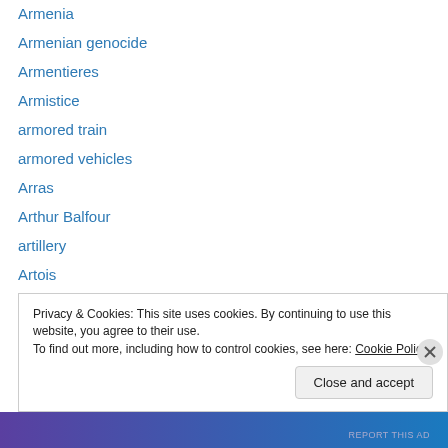Armenia
Armenian genocide
Armentieres
Armistice
armored train
armored vehicles
Arras
Arthur Balfour
artillery
Artois
Askaris
assassination
Assur
Privacy & Cookies: This site uses cookies. By continuing to use this website, you agree to their use.
To find out more, including how to control cookies, see here: Cookie Policy
Close and accept